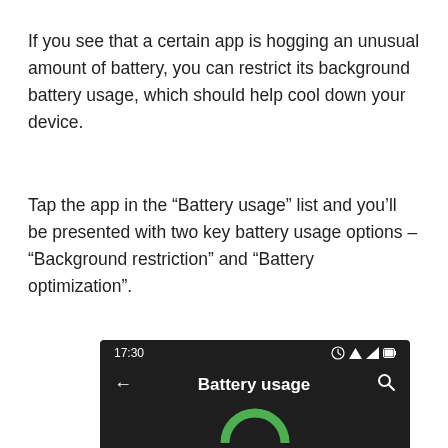If you see that a certain app is hogging an unusual amount of battery, you can restrict its background battery usage, which should help cool down your device.
Tap the app in the “Battery usage” list and you’ll be presented with two key battery usage options – “Background restriction” and “Battery optimization”.
[Figure (screenshot): Android phone screenshot showing a dark-themed 'Battery usage' screen with status bar showing time 17:30 and icons, a back arrow, the title 'Battery usage', a search icon, and the top of a green circular chart element.]